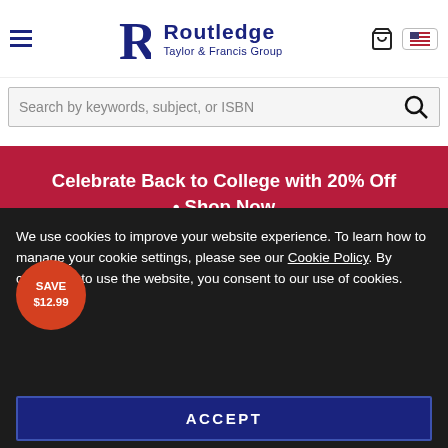Routledge Taylor & Francis Group
Search by keywords, subject, or ISBN
Celebrate Back to College with 20% Off • Shop Now
[Figure (illustration): Book cover for 'Controlling High Blood Pressure Through Nutrition, Nutritional...' with a red badge showing SAVE $12.99]
We use cookies to improve your website experience. To learn how to manage your cookie settings, please see our Cookie Policy. By continuing to use the website, you consent to our use of cookies.
ACCEPT